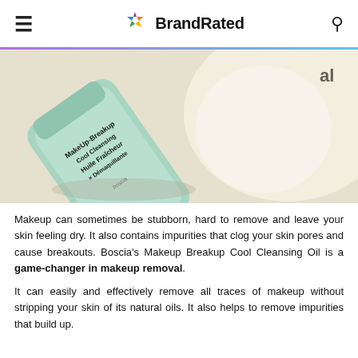BrandRated
[Figure (photo): Close-up photo of a mint/light green Boscia Makeup Breakup Cool Cleansing Oil bottle lying on a beige surface with soft shadows and a white circular object in background]
Makeup can sometimes be stubborn, hard to remove and leave your skin feeling dry. It also contains impurities that clog your skin pores and cause breakouts. Boscia's Makeup Breakup Cool Cleansing Oil is a game-changer in makeup removal.
It can easily and effectively remove all traces of makeup without stripping your skin of its natural oils. It also helps to remove impurities that build up.